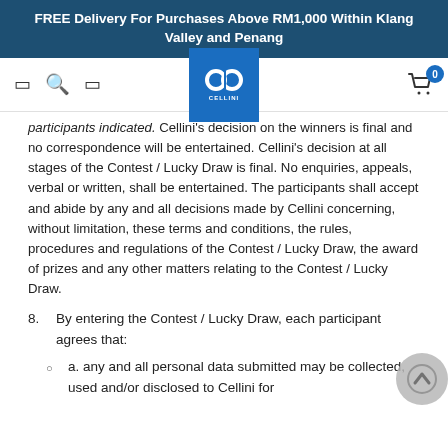FREE Delivery For Purchases Above RM1,000 Within Klang Valley and Penang
[Figure (logo): Cellini brand logo — white interlocking CC letters on blue background, with CELLINI text below]
participants indicated. Cellini's decision on the winners is final and no correspondence will be entertained. Cellini's decision at all stages of the Contest / Lucky Draw is final. No enquiries, appeals, verbal or written, shall be entertained. The participants shall accept and abide by any and all decisions made by Cellini concerning, without limitation, these terms and conditions, the rules, procedures and regulations of the Contest / Lucky Draw, the award of prizes and any other matters relating to the Contest / Lucky Draw.
8. By entering the Contest / Lucky Draw, each participant agrees that:
a. any and all personal data submitted may be collected, used and/or disclosed to Cellini for